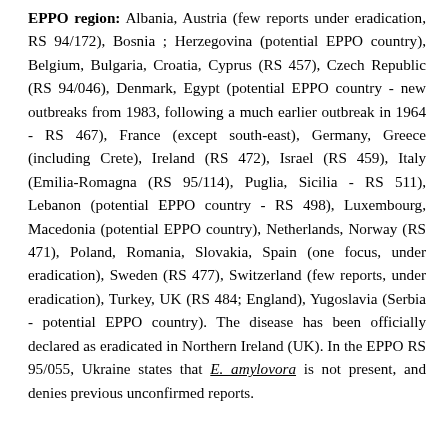EPPO region: Albania, Austria (few reports under eradication, RS 94/172), Bosnia ; Herzegovina (potential EPPO country), Belgium, Bulgaria, Croatia, Cyprus (RS 457), Czech Republic (RS 94/046), Denmark, Egypt (potential EPPO country - new outbreaks from 1983, following a much earlier outbreak in 1964 - RS 467), France (except south-east), Germany, Greece (including Crete), Ireland (RS 472), Israel (RS 459), Italy (Emilia-Romagna (RS 95/114), Puglia, Sicilia - RS 511), Lebanon (potential EPPO country - RS 498), Luxembourg, Macedonia (potential EPPO country), Netherlands, Norway (RS 471), Poland, Romania, Slovakia, Spain (one focus, under eradication), Sweden (RS 477), Switzerland (few reports, under eradication), Turkey, UK (RS 484; England), Yugoslavia (Serbia - potential EPPO country). The disease has been officially declared as eradicated in Northern Ireland (UK). In the EPPO RS 95/055, Ukraine states that E. amylovora is not present, and denies previous unconfirmed reports.